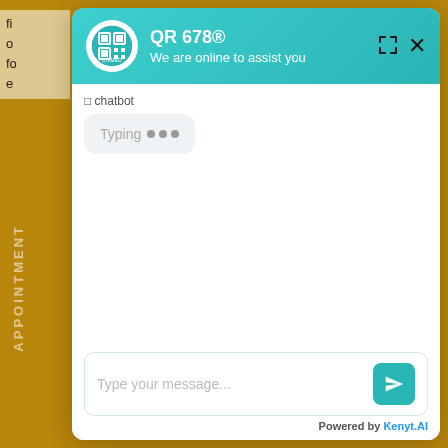[Figure (screenshot): A customer support chat widget overlay from QR 678® with a teal/cyan header showing the logo, title 'QR 678®', subtitle 'We are online to assist you', a chatbot typing indicator bubble, an empty message input field with placeholder 'Type your message...', a send button, and 'Powered by Kenyt.AI' footer. The background shows a golden/bronze colored webpage with partial text and a vertical 'APPOINTMENT' label.]